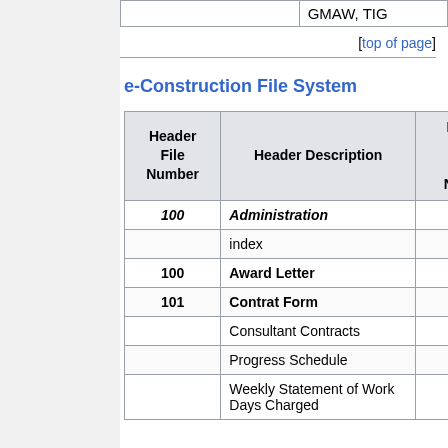|  | GMAW, TIG |
| --- | --- |
[top of page]
e-Construction File System
| Header File Number | Header Description | Header MDC Form Number |
| --- | --- | --- |
| 100 | Administration |  |
|  | index |  |
| 100 | Award Letter |  |
| 101 | Contrat Form |  |
|  | Consultant Contracts |  |
|  | Progress Schedule |  |
|  | Weekly Statement of Work Days Charged | 1130 |